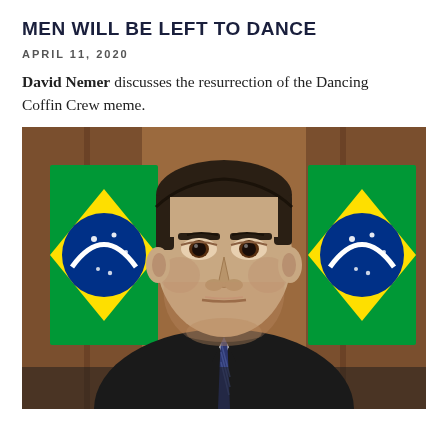MEN WILL BE LEFT TO DANCE
APRIL 11, 2020
David Nemer discusses the resurrection of the Dancing Coffin Crew meme.
[Figure (photo): A man in a dark suit and striped tie stands in front of a green and yellow Brazilian flag with a blue circle emblem, against a warm brown background. He has short dark hair and a serious expression.]